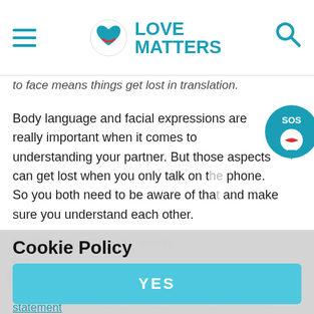Love Matters — header with hamburger menu and search icon
to face means things get lost in translation.
Body language and facial expressions are really important when it comes to understanding your partner. But those aspects can get lost when you only talk on the phone. So you both need to be aware of that and make sure you understand each other.
Cookie Policy
We want to use personalised analytical cookies to help us to improve our website. Read more in our cookie statement
YES